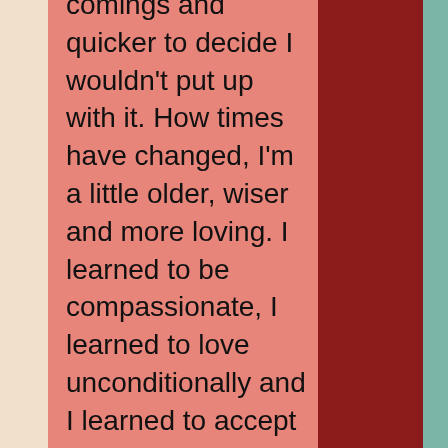comings and quicker to decide I wouldn't put up with it. How times have changed, I'm a little older, wiser and more loving. I learned to be compassionate, I learned to love unconditionally and I learned to accept the person for who they are and where they are. The problem is I keep picking people who aren't able to offer me that same level of commitment and